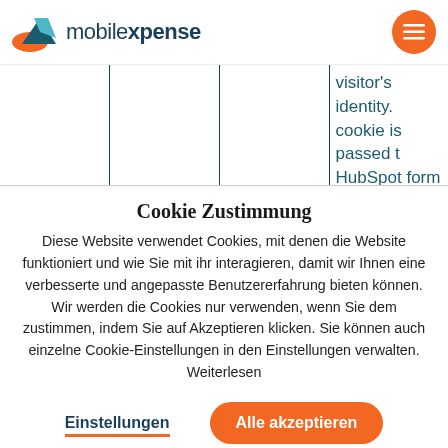mobilexpense
|  |  |  | visitor's identity. cookie is passed to HubSpot form submiss |
Cookie Zustimmung
Diese Website verwendet Cookies, mit denen die Website funktioniert und wie Sie mit ihr interagieren, damit wir Ihnen eine verbesserte und angepasste Benutzererfahrung bieten können. Wir werden die Cookies nur verwenden, wenn Sie dem zustimmen, indem Sie auf Akzeptieren klicken. Sie können auch einzelne Cookie-Einstellungen in den Einstellungen verwalten. Weiterlesen
Einstellungen
Alle akzeptieren